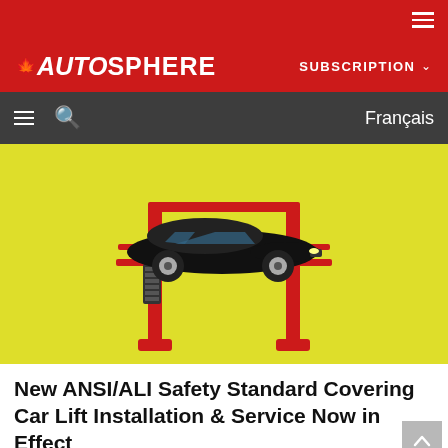AUTOSPHERE — SUBSCRIPTION | Français
[Figure (photo): A black sports car (Ford Mustang) elevated on a red two-post car lift, against a yellow background]
New ANSI/ALI Safety Standard Covering Car Lift Installation & Service Now in Effect